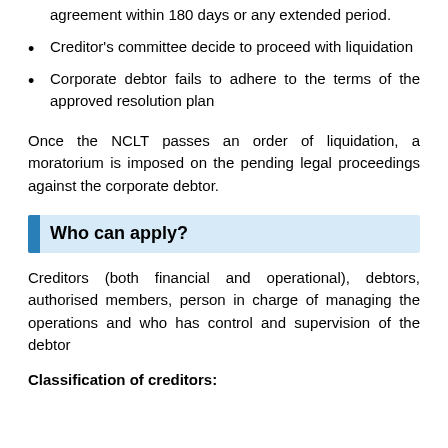agreement within 180 days or any extended period.
Creditor's committee decide to proceed with liquidation
Corporate debtor fails to adhere to the terms of the approved resolution plan
Once the NCLT passes an order of liquidation, a moratorium is imposed on the pending legal proceedings against the corporate debtor.
Who can apply?
Creditors (both financial and operational), debtors, authorised members, person in charge of managing the operations and who has control and supervision of the debtor
Classification of creditors: